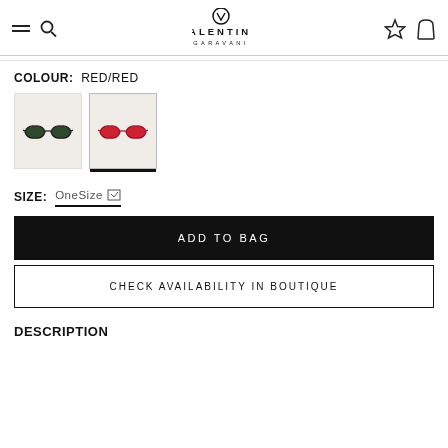VALENTINO GARAVANI
COLOUR: RED/RED
[Figure (photo): Two color swatch options for cat-eye sunglasses: left swatch shows dark green/black frames, right swatch (selected, with underline) shows red frames. Both on light beige background.]
SIZE: OneSize
ADD TO BAG
CHECK AVAILABILITY IN BOUTIQUE
DESCRIPTION